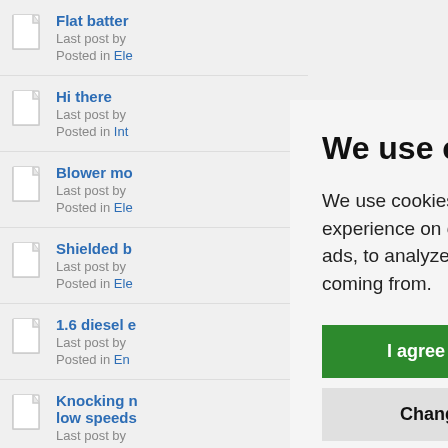Flat batter...
Last post by
Posted in Ele
Hi there
Last post by
Posted in Int
Blower mo...
Last post by
Posted in Ele
Shielded b...
Last post by
Posted in Ele
1.6 diesel e...
Last post by
Posted in En
Knocking n... low speeds...
Last post by
We use cookies
We use cookies and other tracking technologies to improve your browsing experience on our website, to show you personalized content and targeted ads, to analyze our website traffic, and to understand where our visitors are coming from.
I agree
Change my preferences